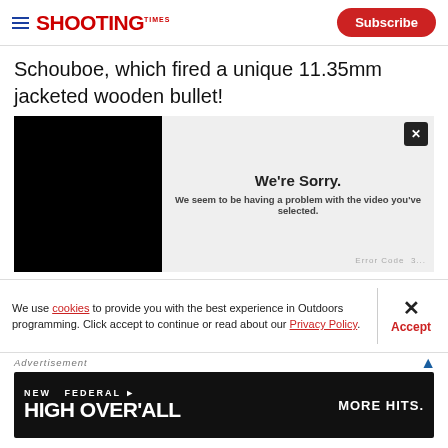Shooting Times — Subscribe
Schouboe, which fired a unique 11.35mm jacketed wooden bullet!
[Figure (screenshot): Video player showing error: 'We're Sorry. We seem to be having a problem with the video you've selected.' with an Error Code label at bottom right. Left side is a black video thumbnail. A close (X) button is in top right corner.]
We use cookies to provide you with the best experience in Outdoors programming. Click accept to continue or read about our Privacy Policy.
Advertisement
[Figure (screenshot): Federal High Overall ad banner with dark background. Text: NEW FEDERAL HIGH OVER ALL MORE HITS.]